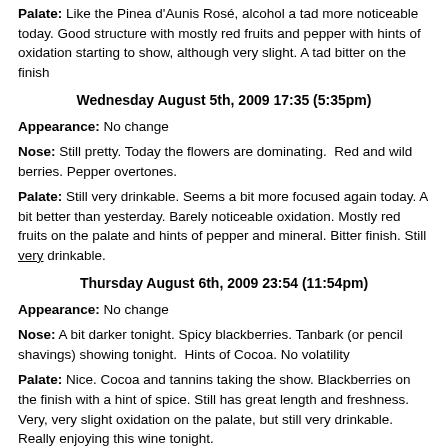Palate: Like the Pinea d'Aunis Rosé, alcohol a tad more noticeable today. Good structure with mostly red fruits and pepper with hints of oxidation starting to show, although very slight. A tad bitter on the finish
Wednesday August 5th, 2009 17:35 (5:35pm)
Appearance: No change
Nose: Still pretty. Today the flowers are dominating.  Red and wild berries. Pepper overtones.
Palate: Still very drinkable. Seems a bit more focused again today. A bit better than yesterday. Barely noticeable oxidation. Mostly red fruits on the palate and hints of pepper and mineral. Bitter finish. Still very drinkable.
Thursday August 6th, 2009 23:54 (11:54pm)
Appearance: No change
Nose: A bit darker tonight. Spicy blackberries. Tanbark (or pencil shavings) showing tonight.  Hints of Cocoa. No volatility
Palate: Nice. Cocoa and tannins taking the show. Blackberries on the finish with a hint of spice. Still has great length and freshness. Very, very slight oxidation on the palate, but still very drinkable. Really enjoying this wine tonight.